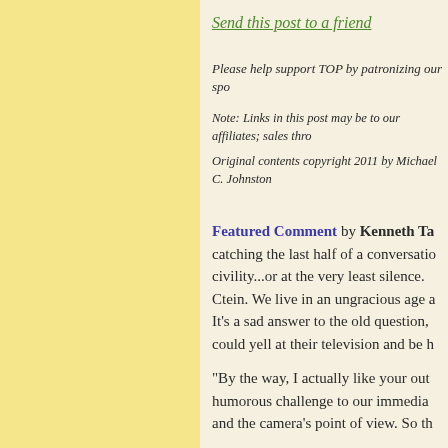Send this post to a friend
Please help support TOP by patronizing our spo
Note: Links in this post may be to our affiliates; sales thro
Original contents copyright 2011 by Michael C. Johnston
Featured Comment by Kenneth Ta catching the last half of a conversatio civility...or at the very least silence. Ctein. We live in an ungracious age a It's a sad answer to the old question, could yell at their television and be h
"By the way, I actually like your out humorous challenge to our immedia and the camera's point of view. So th